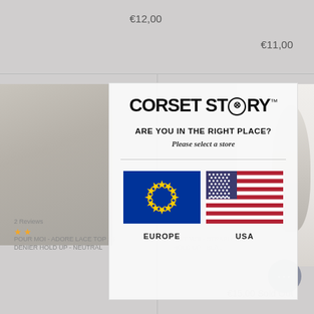€12,00
€11,00
[Figure (screenshot): Corset Story website background showing product images and prices behind a modal dialog]
CORSET STORY™
ARE YOU IN THE RIGHT PLACE?
Please select a store
[Figure (illustration): European Union flag - blue background with circle of 12 gold stars]
EUROPE
[Figure (illustration): United States flag - red and white stripes with blue canton containing white stars]
USA
2 Reviews
POUR MOI - ADORE LACE TOP 15 DENIER HOLD UP - NEUTRAL
KNIT MOI - STRAPLESS HOLD UP - BLA...
€15,00 Sold Out